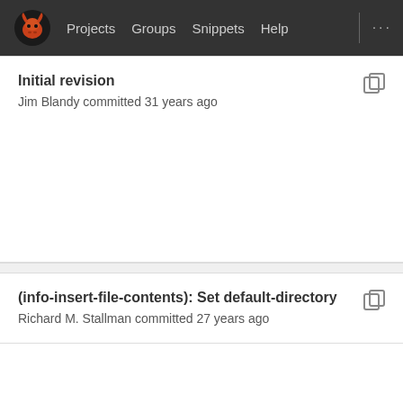Projects  Groups  Snippets  Help  ...
Initial revision
Jim Blandy committed 31 years ago
(info-insert-file-contents): Set default-directory
Richard M. Stallman committed 27 years ago